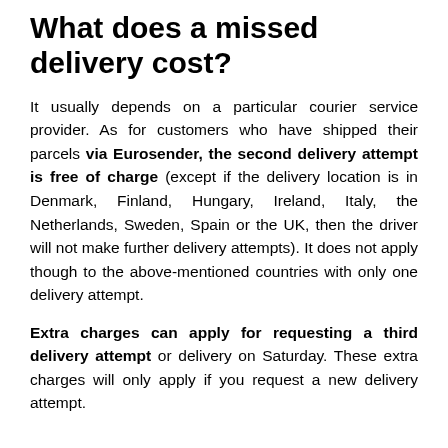What does a missed delivery cost?
It usually depends on a particular courier service provider. As for customers who have shipped their parcels via Eurosender, the second delivery attempt is free of charge (except if the delivery location is in Denmark, Finland, Hungary, Ireland, Italy, the Netherlands, Sweden, Spain or the UK, then the driver will not make further delivery attempts). It does not apply though to the above-mentioned countries with only one delivery attempt.
Extra charges can apply for requesting a third delivery attempt or delivery on Saturday. These extra charges will only apply if you request a new delivery attempt.